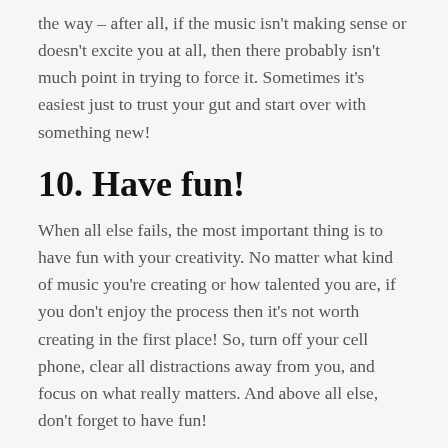the way – after all, if the music isn't making sense or doesn't excite you at all, then there probably isn't much point in trying to force it. Sometimes it's easiest just to trust your gut and start over with something new!
10. Have fun!
When all else fails, the most important thing is to have fun with your creativity. No matter what kind of music you're creating or how talented you are, if you don't enjoy the process then it's not worth creating in the first place! So, turn off your cell phone, clear all distractions away from you, and focus on what really matters. And above all else, don't forget to have fun!
Conclusion